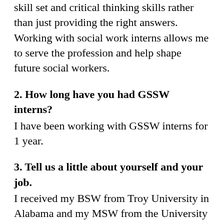skill set and critical thinking skills rather than just providing the right answers. Working with social work interns allows me to serve the profession and help shape future social workers.
2. How long have you had GSSW interns?
I have been working with GSSW interns for 1 year.
3. Tell us a little about yourself and your job.
I received my BSW from Troy University in Alabama and my MSW from the University of Houston specializing in clinical work. I utilize a strengths-based approach to assist patients in providing support during difficult times, improving self-esteem, and increasing belief in the ability to improve mental health in order to learn to manage thoughts, emotions, and behaviors in a healthy way. I love to engage in creative activities like brush-lettering and digital art and spending time outside in my hometown of